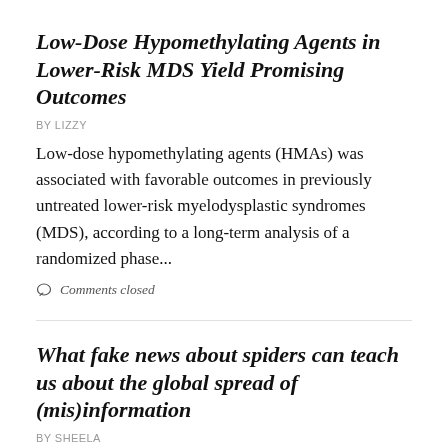Low-Dose Hypomethylating Agents in Lower-Risk MDS Yield Promising Outcomes
BY LIZZY
Low-dose hypomethylating agents (HMAs) was associated with favorable outcomes in previously untreated lower-risk myelodysplastic syndromes (MDS), according to a long-term analysis of a randomized phase...
Comments closed
What fake news about spiders can teach us about the global spread of (mis)information
BY SHEELA
It's no secret that the internet and social media fuel rampant spread of (mis)information in many areas of life. Now, researchers reporting in Current Biology...
Comments closed